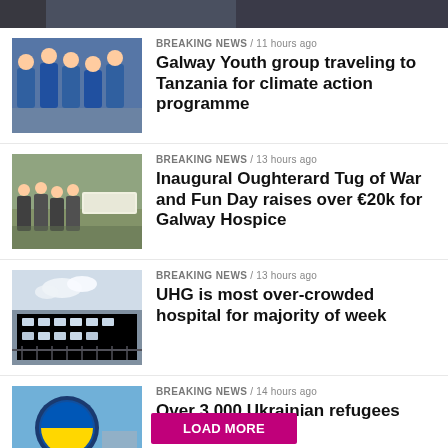[Figure (photo): Partial image of group at top of page (cropped)]
BREAKING NEWS / 11 hours ago
Galway Youth group traveling to Tanzania for climate action programme
[Figure (photo): Group of people in blue shirts outdoors]
BREAKING NEWS / 13 hours ago
Inaugural Oughterard Tug of War and Fun Day raises over €20k for Galway Hospice
[Figure (photo): Group of people at outdoor event]
BREAKING NEWS / 13 hours ago
UHG is most over-crowded hospital for majority of week
[Figure (photo): Hospital building exterior]
BREAKING NEWS / 14 hours ago
Over 3,000 Ukrainian refugees now in Galway
[Figure (photo): Ukrainian flag emblem by water]